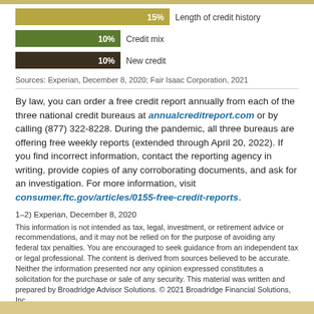[Figure (bar-chart): Credit score factors (partial)]
Sources: Experian, December 8, 2020; Fair Isaac Corporation, 2021
By law, you can order a free credit report annually from each of the three national credit bureaus at annualcreditreport.com or by calling (877) 322-8228. During the pandemic, all three bureaus are offering free weekly reports (extended through April 20, 2022). If you find incorrect information, contact the reporting agency in writing, provide copies of any corroborating documents, and ask for an investigation. For more information, visit consumer.ftc.gov/articles/0155-free-credit-reports.
1–2) Experian, December 8, 2020
This information is not intended as tax, legal, investment, or retirement advice or recommendations, and it may not be relied on for the purpose of avoiding any federal tax penalties. You are encouraged to seek guidance from an independent tax or legal professional. The content is derived from sources believed to be accurate. Neither the information presented nor any opinion expressed constitutes a solicitation for the purchase or sale of any security. This material was written and prepared by Broadridge Advisor Solutions. © 2021 Broadridge Financial Solutions, Inc.